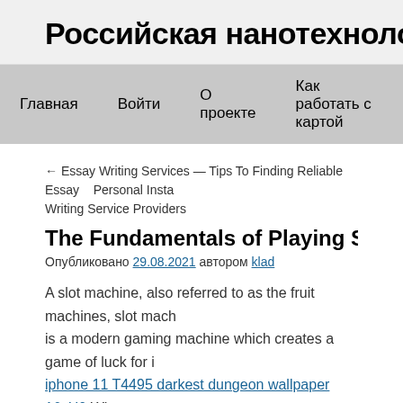Российская нанотехнологиче
Главная   Войти   О проекте   Как работать с картой
← Essay Writing Services — Tips To Finding Reliable Essay Writing Service Providers    Personal Insta
The Fundamentals of Playing Slot Machin
Опубликовано 29.08.2021 автором klad
A slot machine, also referred to as the fruit machines, slot mach is a modern gaming machine which creates a game of luck for i iphone 11 T4495 darkest dungeon wallpaper 16yH0 When you p and pull on the deal, a random number or symbol will be drawn iphone 11 pro The odds of hitting a jackpot are high, as long as